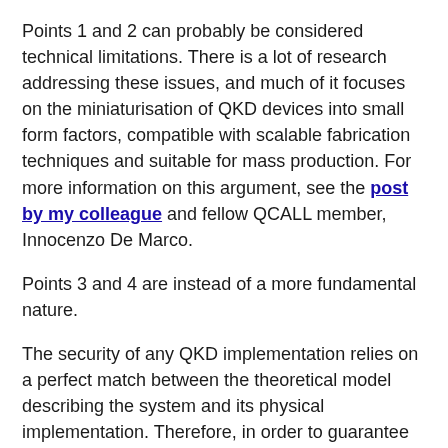Points 1 and 2 can probably be considered technical limitations. There is a lot of research addressing these issues, and much of it focuses on the miniaturisation of QKD devices into small form factors, compatible with scalable fabrication techniques and suitable for mass production. For more information on this argument, see the post by my colleague and fellow QCALL member, Innocenzo De Marco.
Points 3 and 4 are instead of a more fundamental nature.
The security of any QKD implementation relies on a perfect match between the theoretical model describing the system and its physical implementation. Therefore, in order to guarantee the perfect security of a system, two approaches are possible:
One is to develop theoretical models that consider all the possible experimental flaws (see the work of my fellow